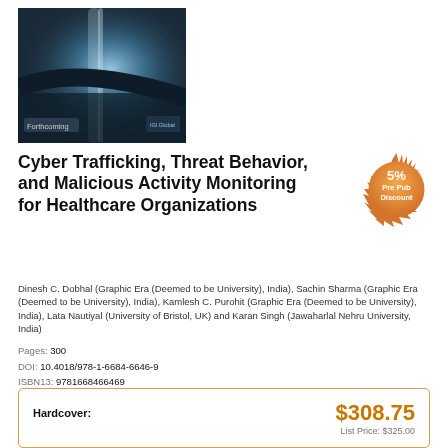[Figure (illustration): Book cover for 'Cyber Trafficking, Threat Behavior, and Malicious Activity Monitoring for Healthcare Organizations' showing dark blue abstract art with 'Forthcoming' and publisher logo]
Cyber Trafficking, Threat Behavior, and Malicious Activity Monitoring for Healthcare Organizations
[Figure (other): Orange circular badge showing '5% Pre Pub Discount*']
Dinesh C. Dobhal (Graphic Era (Deemed to be University), India), Sachin Sharma (Graphic Era (Deemed to be University), India), Kamlesh C. Purohit (Graphic Era (Deemed to be University), India), Lata Nautiyal (University of Bristol, UK) and Karan Singh (Jawaharlal Nehru University, India)
Pages: 300
DOI: 10.4018/978-1-6684-6646-9
ISBN13: 9781668466469
ISBN10: 1668466465
EISBN13: 9781668466476
Hardcover: $308.75
List Price: $325.00